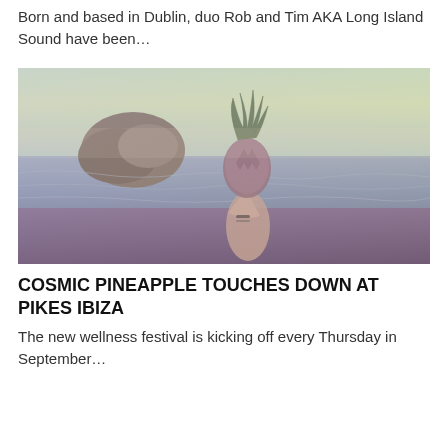Born and based in Dublin, duo Rob and Tim AKA Long Island Sound have been…
[Figure (photo): A person holding a pineapple above water in the sea, with a rocky island and hazy sky in the background. The photo has a warm, retro-tinted filter with purple and teal tones.]
COSMIC PINEAPPLE TOUCHES DOWN AT PIKES IBIZA
The new wellness festival is kicking off every Thursday in September…